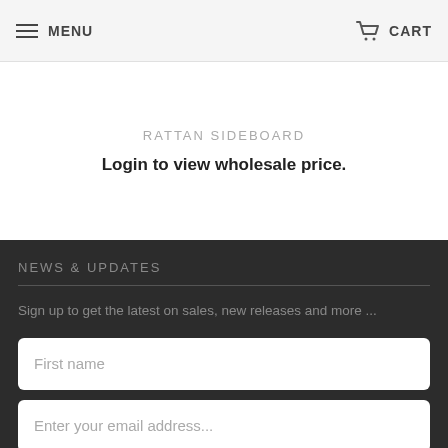MENU   CART
RATTAN SIDEBOARD
Login to view wholesale price.
NEWS & UPDATES
Sign up to get the latest on sales, new releases and more ...
First name
Enter your email address...